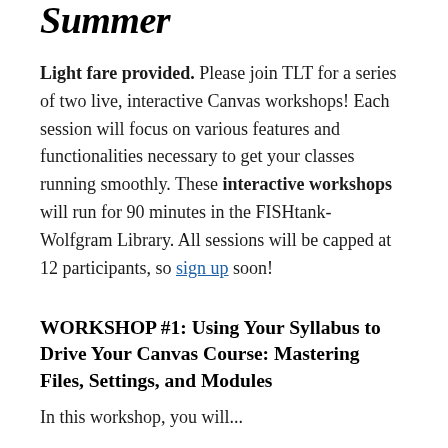Summer
Light fare provided. Please join TLT for a series of two live, interactive Canvas workshops! Each session will focus on various features and functionalities necessary to get your classes running smoothly. These interactive workshops will run for 90 minutes in the FISHtank- Wolfgram Library. All sessions will be capped at 12 participants, so sign up soon!
WORKSHOP #1: Using Your Syllabus to Drive Your Canvas Course: Mastering Files, Settings, and Modules
In this workshop, you will...